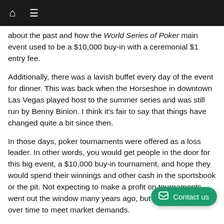Navigation bar with home and menu icons
about the past and how the World Series of Poker main event used to be a $10,000 buy-in with a ceremonial $1 entry fee.
Additionally, there was a lavish buffet every day of the event for dinner. This was back when the Horseshoe in downtown Las Vegas played host to the summer series and was still run by Benny Binion. I think it's fair to say that things have changed quite a bit since then.
In those days, poker tournaments were offered as a loss leader. In other words, you would get people in the door for this big event, a $10,000 buy-in tournament, and hope they would spend their winnings and other cash in the sportsbook or the pit. Not expecting to make a profit on tournaments went out the window many years ago, but rake has evolved over time to meet market demands.
Back then, there were just a few tournaments a year, mostly catering to high rollers. Now there are bigger poker tournaments pretty much everywhere on a daily basis, not just La... n... major tour events that you have to pick between. The poker tournament market has shifted from loss leader into a profitable